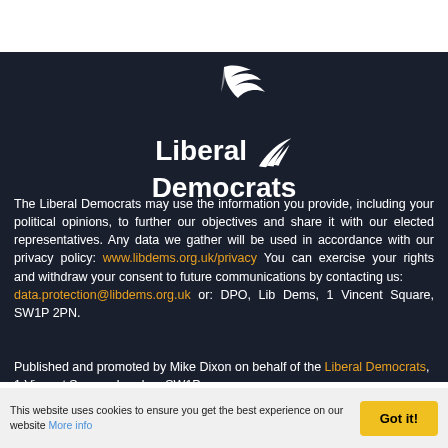[Figure (logo): Liberal Democrats logo with stylized bird/wing motif and text 'Liberal Democrats']
The Liberal Democrats may use the information you provide, including your political opinions, to further our objectives and share it with our elected representatives. Any data we gather will be used in accordance with our privacy policy: www.libdems.org.uk/privacy You can exercise your rights and withdraw your consent to future communications by contacting us: data.protection@libdems.org.uk or: DPO, Lib Dems, 1 Vincent Square, SW1P 2PN.
Published and promoted by Mike Dixon on behalf of the Liberal Democrats, 1 Vincent Square, London, SW1P
This website uses cookies to ensure you get the best experience on our website More info